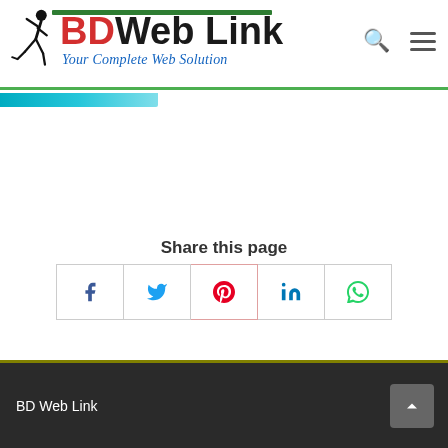[Figure (logo): BD Web Link logo with running figure silhouette, red BD text, black Web Link text, blue tagline 'Your Complete Web Solution', green-blue gradient underline]
Share this page
[Figure (infographic): Five social share buttons: Facebook (f), Twitter (bird), Pinterest (P), LinkedIn (in), WhatsApp (phone)]
BD Web Link